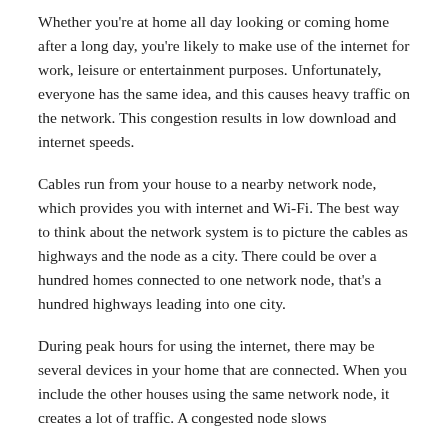Whether you're at home all day looking or coming home after a long day, you're likely to make use of the internet for work, leisure or entertainment purposes. Unfortunately, everyone has the same idea, and this causes heavy traffic on the network. This congestion results in low download and internet speeds.
Cables run from your house to a nearby network node, which provides you with internet and Wi-Fi. The best way to think about the network system is to picture the cables as highways and the node as a city. There could be over a hundred homes connected to one network node, that's a hundred highways leading into one city.
During peak hours for using the internet, there may be several devices in your home that are connected. When you include the other houses using the same network node, it creates a lot of traffic. A congested node slows